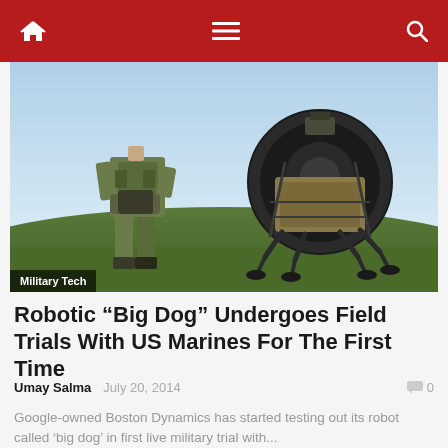Navigation bar with home, menu, and search icons
[Figure (photo): A soldier in camouflage uniform holding a controller standing next to a large quadruped robot (Boston Dynamics Big Dog) on a grassy hill with blue sky in background. Badge text: Military Tech]
Robotic “Big Dog” Undergoes Field Trials With US Marines For The First Time
Umay Salma   July 20, 2014   0
Google-owned Boston Dynamics has started testing out its robot called ‘big dog’ in first live military trial with...